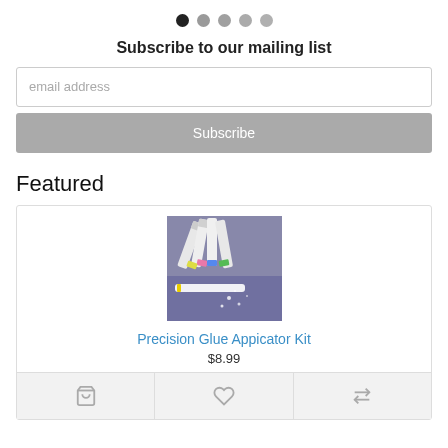[Figure (other): Pagination dots: one filled black dot followed by four gray dots]
Subscribe to our mailing list
email address
Subscribe
Featured
[Figure (photo): Product photo showing precision glue applicator syringes with colored tips on a purple background]
Precision Glue Appicator Kit
$8.99
[Figure (other): Three action icon buttons: shopping cart, heart/wishlist, and compare arrows]